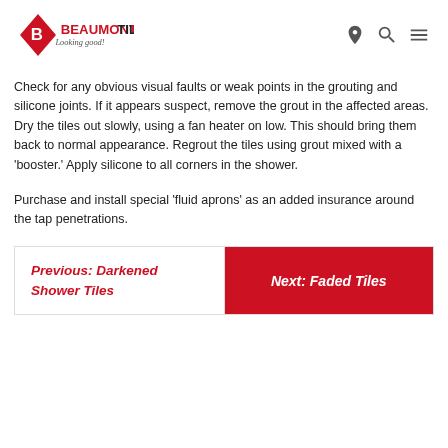BEAUMONT TILES – Looking good!
Check for any obvious visual faults or weak points in the grouting and silicone joints. If it appears suspect, remove the grout in the affected areas. Dry the tiles out slowly, using a fan heater on low. This should bring them back to normal appearance. Regrout the tiles using grout mixed with a 'booster.' Apply silicone to all corners in the shower.
Purchase and install special 'fluid aprons' as an added insurance around the tap penetrations.
Previous: Darkened Shower Tiles
Next: Faded Tiles